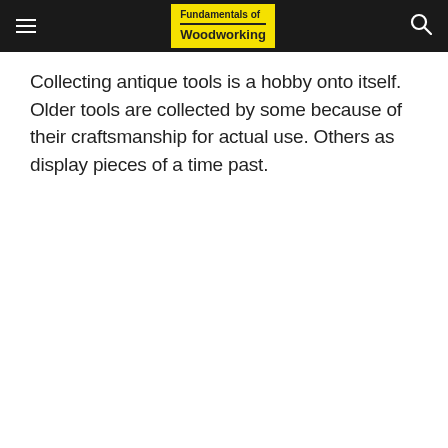Fundamentals of Woodworking
Collecting antique tools is a hobby onto itself. Older tools are collected by some because of their craftsmanship for actual use. Others as display pieces of a time past.